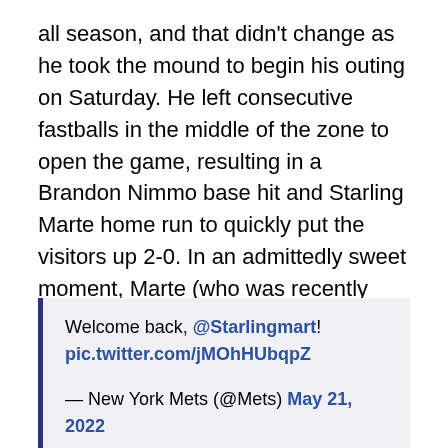all season, and that didn't change as he took the mound to begin his outing on Saturday. He left consecutive fastballs in the middle of the zone to open the game, resulting in a Brandon Nimmo base hit and Starling Marte home run to quickly put the visitors up 2-0. In an admittedly sweet moment, Marte (who was recently activated from the bereavement list after the loss of his grandmother) was emotional as he crossed the base paths and looked upward as he scored the run.
Welcome back, @Starlingmart! pic.twitter.com/jMOhHUbqpZ

— New York Mets (@Mets) May 21, 2022